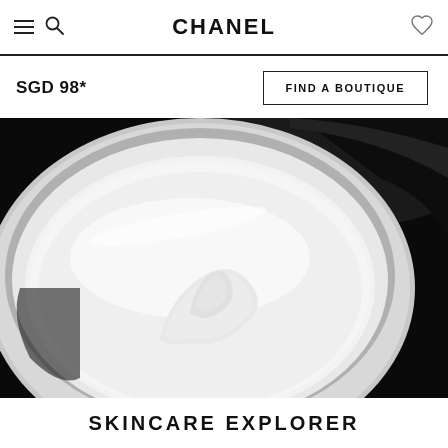CHANEL
SGD 98*
FIND A BOUTIQUE
[Figure (photo): Close-up macro photo of a white creamy skincare product in a round jar, with smooth swirled texture against a dark black background]
SKINCARE EXPLORER